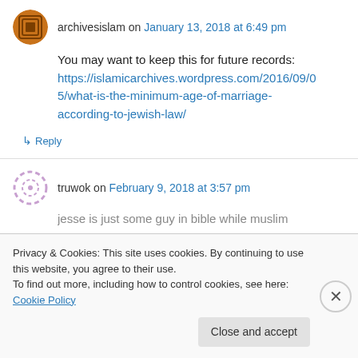archivesislam on January 13, 2018 at 6:49 pm
You may want to keep this for future records: https://islamicarchives.wordpress.com/2016/09/05/what-is-the-minimum-age-of-marriage-according-to-jewish-law/
↳ Reply
truwok on February 9, 2018 at 3:57 pm
jesse is just some guy in bible while muslim
Privacy & Cookies: This site uses cookies. By continuing to use this website, you agree to their use. To find out more, including how to control cookies, see here: Cookie Policy
Close and accept